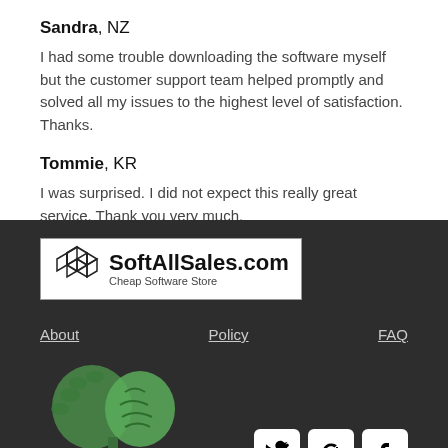Sandra, NZ
I had some trouble downloading the software myself but the customer support team helped promptly and solved all my issues to the highest level of satisfaction. Thanks.
Tommie, KR
I was surprised. I did not expect this really great service. Thank you very much.
[Figure (logo): SoftAllSales.com logo with hexagon icon and text 'Cheap Software Store']
About   Policy   FAQ
[Figure (illustration): Green tree/brain 'Think green' illustration]
[Figure (other): Social media icons: Twitter, Google+, Facebook]